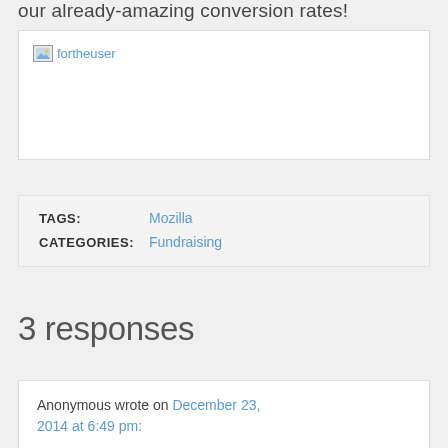our already-amazing conversion rates!
[Figure (illustration): Broken image placeholder labeled 'fortheuser']
TAGS: Mozilla
CATEGORIES: Fundraising
3 responses
Anonymous wrote on December 23, 2014 at 6:49 pm: